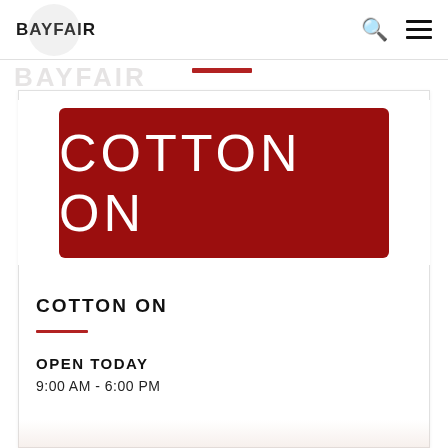BAYFAIR
[Figure (logo): Cotton On brand logo: white text 'COTTON ON' on dark red/maroon rectangular background]
COTTON ON
OPEN TODAY
9:00 AM - 6:00 PM